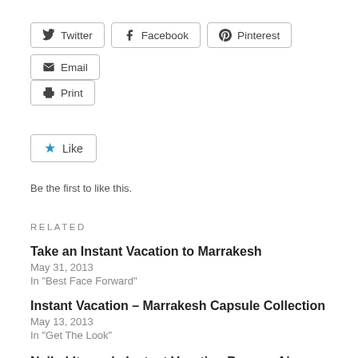[Figure (other): Row of social share buttons: Twitter, Facebook, Pinterest, Email, Print]
[Figure (other): Like button with blue star icon]
Be the first to like this.
RELATED
Take an Instant Vacation to Marrakesh
May 31, 2013
In "Best Face Forward"
Instant Vacation – Marrakesh Capsule Collection
May 13, 2013
In "Get The Look"
Nailed It: mark. Instant Vacation Buenos Aires Vibe Trend Mini Nail Lacquers in Futbol Blue and Palermo Purple